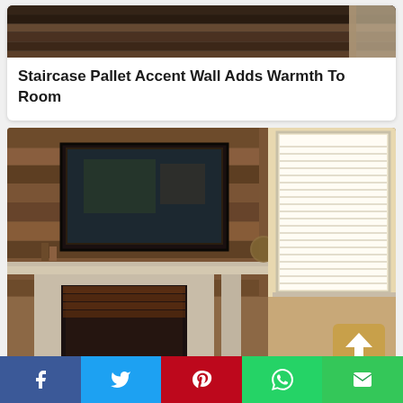[Figure (photo): Top portion of a pallet wood accent wall, showing horizontal wooden planks with varying dark brown tones, partial view of a white door frame on the right]
Staircase Pallet Accent Wall Adds Warmth To Room
[Figure (photo): Interior room photo showing a fireplace with white mantel surround, a flat-screen TV mounted on a rustic pallet wood accent wall above the mantel, decorative items on the mantel, and a window with white blinds on the right side]
[Figure (other): Social media share bar at the bottom with five buttons: Facebook (blue), Twitter (cyan), Pinterest (red), WhatsApp (green), Email (green)]